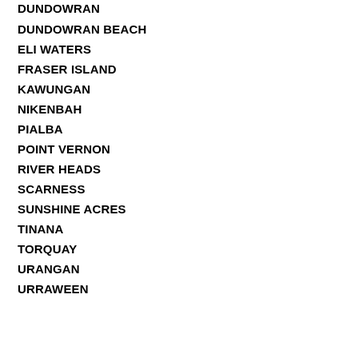DUNDOWRAN BEACH
ELI WATERS
FRASER ISLAND
KAWUNGAN
NIKENBAH
PIALBA
POINT VERNON
RIVER HEADS
SCARNESS
SUNSHINE ACRES
TINANA
TORQUAY
URANGAN
URRAWEEN